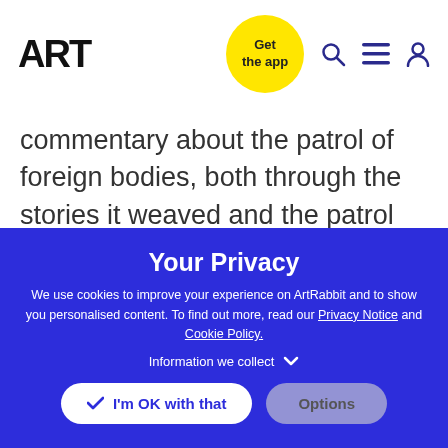ART — Get the app [nav: search, menu, account]
commentary about the patrol of foreign bodies, both through the stories it weaved and the patrol that the performers saw their bodies undergo. One such performer is an asylum seeker in Canada, and visa
Your Privacy
We use cookies to improve your experience on ArtRabbit and to show you personalised content. To find out more, read our Privacy Notice and Cookie Policy.
Information we collect ∨
✓ I'm OK with that   Options